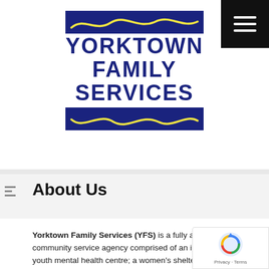[Figure (logo): Yorktown Family Services logo with yellow wave lines above and below blue bold text reading YORKTOWN FAMILY SERVICES]
About Us
Yorktown Family Services (YFS) is a fully accredited community service agency comprised of an infant, child, and youth mental health centre; a women's shelter and community-based violence against women services; and an integrated services site offering rapid access to multiple mental health, primary health, and social service programs for youth and young adults. For over 25 years, Yorktown has been providing immediate access to a wide range of services in Toronto's most vulnerable communities to support and equip women, children, youth and families to create positive